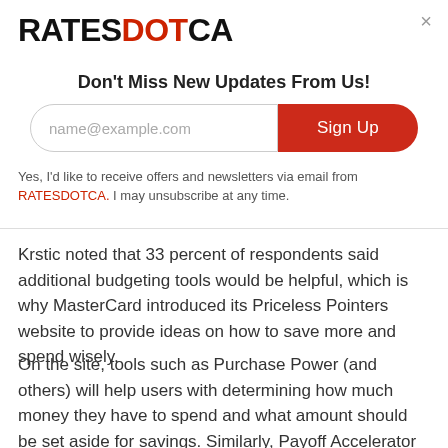[Figure (logo): RATESDOTCA logo with RATES and CA in black bold text and DOT in red bold text]
Don't Miss New Updates From Us!
[Figure (screenshot): Email signup form with placeholder 'name@example.com' and red 'Sign Up' button]
Yes, I'd like to receive offers and newsletters via email from RATESDOTCA. I may unsubscribe at any time.
Krstic noted that 33 percent of respondents said additional budgeting tools would be helpful, which is why MasterCard introduced its Priceless Pointers website to provide ideas on how to save more and spend wisely.
On the site, tools such as Purchase Power (and others) will help users with determining how much money they have to spend and what amount should be set aside for savings. Similarly, Payoff Accelerator can be used to obtain information on how to speed up credit card payments, and the more for the suggestions for selecting the right credit…